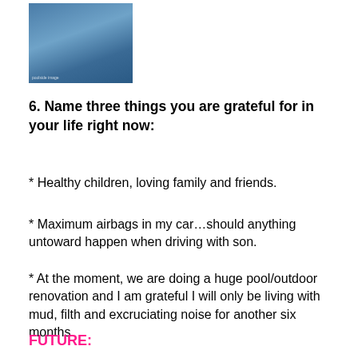[Figure (photo): A photo showing a person near water with a blue background, likely a pool or outdoor setting.]
6. Name three things you are grateful for in your life right now:
* Healthy children, loving family and friends.
* Maximum airbags in my car…should anything untoward happen when driving with son.
* At the moment, we are doing a huge pool/outdoor renovation and I am grateful I will only be living with mud, filth and excruciating noise for another six months.
FUTURE: